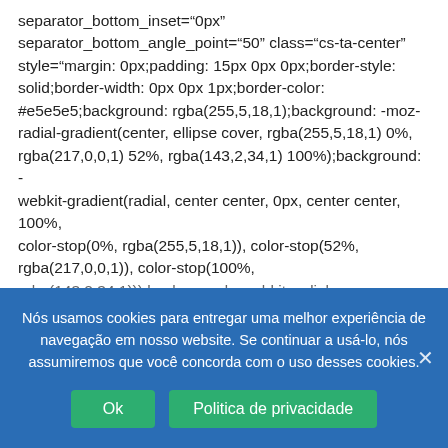separator_bottom_inset="0px" separator_bottom_angle_point="50" class="cs-ta-center" style="margin: 0px;padding: 15px 0px 0px;border-style: solid;border-width: 0px 0px 1px;border-color: #e5e5e5;background: rgba(255,5,18,1);background: -moz-radial-gradient(center, ellipse cover, rgba(255,5,18,1) 0%, rgba(217,0,0,1) 52%, rgba(143,2,34,1) 100%);background: -webkit-gradient(radial, center center, 0px, center center, 100%, color-stop(0%, rgba(255,5,18,1)), color-stop(52%, rgba(217,0,0,1)), color-stop(100%, rgba(143,2,34,1)));background: -webkit-radial-gradient(center, ellipse cover, rgba(255,5,18,1) 0%, rgba(217,0,0,1) 52%, rgba(143,2,34,1) 100%);background: -o-radial-gradient(center, ellipse cover, rgba(255,5,18,1) 0%, rgba(217,0,0,1) 52%,
Nós usamos cookies para entregar uma melhor experiência de navegação em nosso website. Se continuar a usá-lo, nós assumiremos que você concorda com o uso desses cookies.
Ok   Politica de privacidade